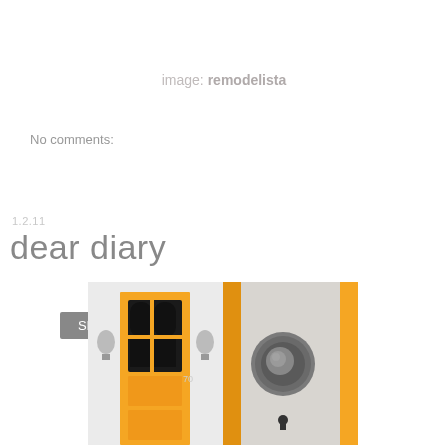image: remodelista
No comments:
Share
1.2.11
dear diary
[Figure (photo): Two-panel photo: left shows an orange front door with arched glass panels and wall-mounted lamps on a white exterior wall with number 70; right shows a close-up of a large round door knob on an orange door frame with a keyhole below.]